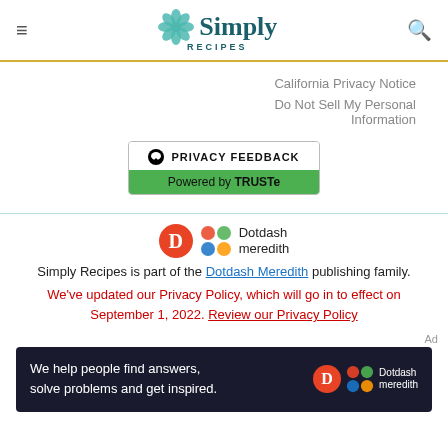Simply Recipes
California Privacy Notice
Do Not Sell My Personal Information
[Figure (logo): Privacy Feedback badge powered by TRUSTe]
[Figure (logo): Dotdash Meredith logo]
Simply Recipes is part of the Dotdash Meredith publishing family.
We've updated our Privacy Policy, which will go in to effect on September 1, 2022. Review our Privacy Policy
[Figure (screenshot): Dotdash Meredith ad banner: We help people find answers, solve problems and get inspired.]